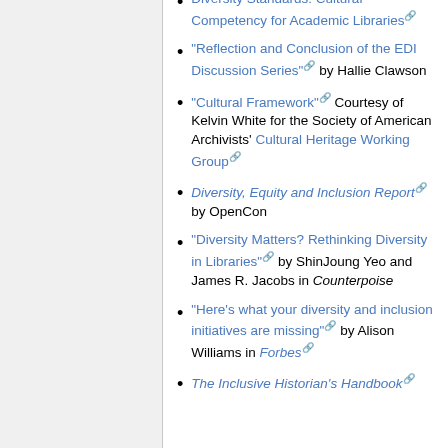Diversity Standards: Cultural Competency for Academic Libraries
"Reflection and Conclusion of the EDI Discussion Series" by Hallie Clawson
"Cultural Framework" Courtesy of Kelvin White for the Society of American Archivists' Cultural Heritage Working Group
Diversity, Equity and Inclusion Report by OpenCon
"Diversity Matters? Rethinking Diversity in Libraries" by ShinJoung Yeo and James R. Jacobs in Counterpoise
"Here's what your diversity and inclusion initiatives are missing" by Alison Williams in Forbes
The Inclusive Historian's Handbook